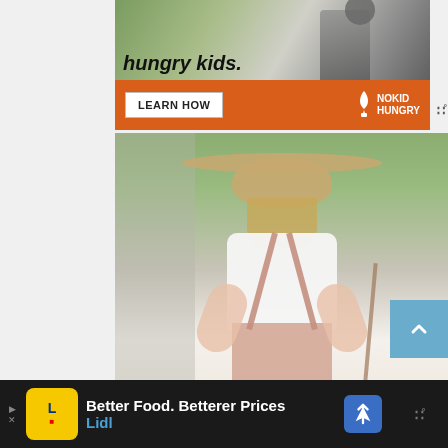[Figure (screenshot): Top advertisement banner: orange background with 'hungry kids.' text and 'LEARN HOW' button next to No Kid Hungry logo]
[Figure (photo): Fashion photo of a woman from behind wearing a wide-brim straw hat, white t-shirt, pink/tan overalls, and carrying a tan crossbody bag, with tropical plants in background]
[Figure (screenshot): Bottom advertisement banner on dark background: Lidl ad reading 'Better Food. Betterer Prices' with Lidl branding in blue]
[Figure (screenshot): Blue scroll-to-top button with upward chevron arrow on right side]
[Figure (screenshot): Blue circular heart/save button on right side]
[Figure (screenshot): Light circular share button on right side]